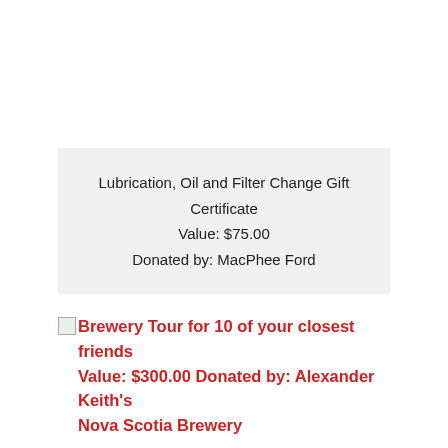Lubrication, Oil and Filter Change Gift Certificate
Value: $75.00
Donated by: MacPhee Ford
Brewery Tour for 10 of your closest friends Value: $300.00 Donated by: Alexander Keith's Nova Scotia Brewery